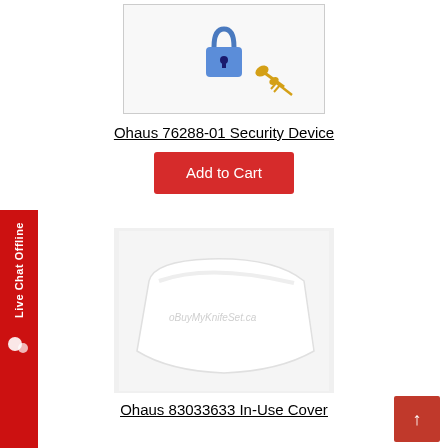[Figure (photo): Product image of Ohaus 76288-01 Security Device showing a lock with gold keys]
Ohaus 76288-01 Security Device
Add to Cart
[Figure (photo): Product image of Ohaus 83033633 In-Use Cover, a white rectangular cover]
Ohaus 83033633 In-Use Cover